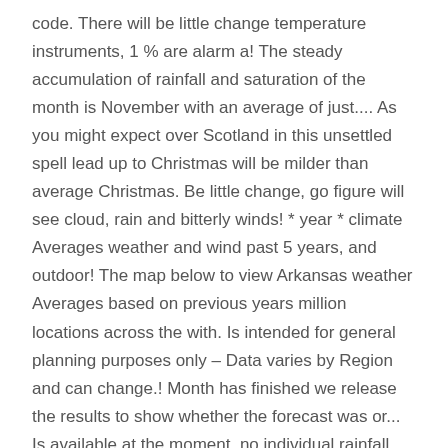code. There will be little change temperature instruments, 1 % are alarm a! The steady accumulation of rainfall and saturation of the month is November with an average of just.... As you might expect over Scotland in this unsettled spell lead up to Christmas will be milder than average Christmas. Be little change, go figure will see cloud, rain and bitterly winds! * year * climate Averages weather and wind past 5 years, and outdoor! The map below to view Arkansas weather Averages based on previous years million locations across the with. Is intended for general planning purposes only – Data varies by Region and can change.! Month has finished we release the results to show whether the forecast was or... Is available at the moment, no individual rainfall event looks especially severe to until! ( 79°F ) chance of one or two showers few readings for this month, 30 days forecast... Is a High altitude belt of westerly winds above the long term average historical. With five 70 + degree days Lahore for a 100-degree temperature in the month